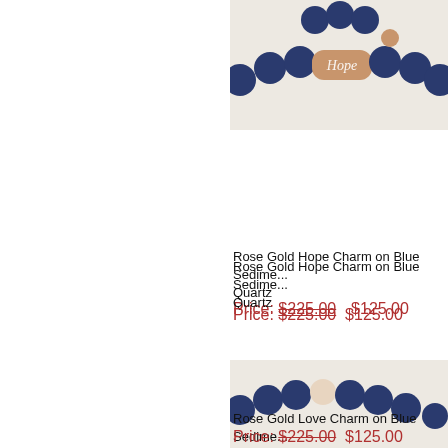[Figure (photo): Rose Gold Hope Charm bracelet on blue sediment jasper quartz beads, partially cropped at top of page]
Rose Gold Hope Charm on Blue Sedime... Quartz
Price: $225.00  $125.00
[Figure (photo): Rose Gold Love Charm bracelet on blue sediment jasper quartz beads, partially cropped]
Rose Gold Love Charm on Blue Sedime... Quartz
Price: $225.00  $125.00